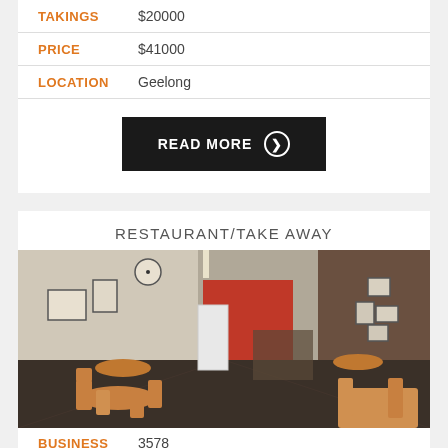| TAKINGS | $20000 |
| PRICE | $41000 |
| LOCATION | Geelong |
READ MORE ❯
RESTAURANT/TAKE AWAY
[Figure (photo): Interior of a restaurant/take away showing wooden chairs and tables on a dark wood floor, framed pictures on walls, a clock, and a red accent wall at the back.]
| BUSINESS | 3578 |
| CATEGORY | Take Away Food |